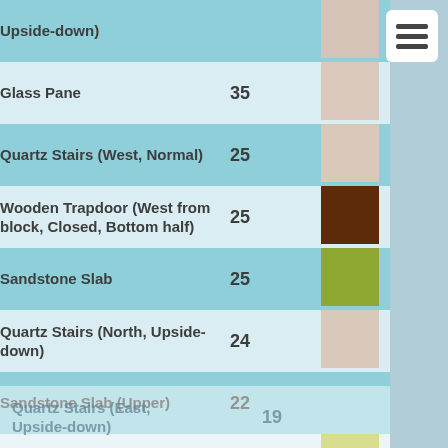| Name | Count | Color |
| --- | --- | --- |
| Upside-down) |  |  |
| Glass Pane | 35 | beige/light pink |
| Quartz Stairs (West, Normal) | 25 | light beige |
| Wooden Trapdoor (West from block, Closed, Bottom half) | 25 | dark brown |
| Sandstone Slab | 25 | olive green |
| Quartz Stairs (North, Upside-down) | 24 | light beige |
| Sandstone Slab (Upper) | 22 |  |
| Birch Wood Stairs (East, Normal) | 21 | yellow-green |
| Quartz Stairs (East, Normal) | 19 | light beige |
| Quartz Stairs (East, Upside-down) | 19 |  |